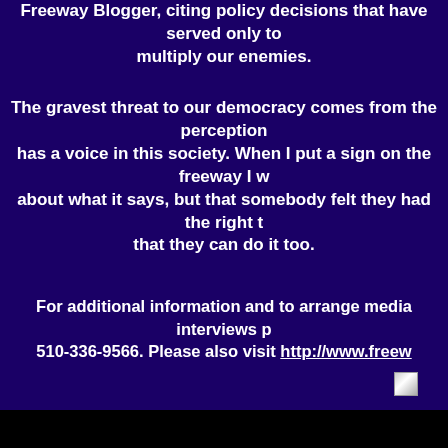Freeway Blogger, citing policy decisions that have served only to multiply our enemies.
The gravest threat to our democracy comes from the perception that nobody has a voice in this society. When I put a sign on the freeway I want people to think not about what it says, but that somebody felt they had the right to say it and that they can do it too.
For additional information and to arrange media interviews please call 510-336-9566. Please also visit http://www.freew
[Figure (photo): Small image placeholder icon]
[ HOME ]  [ PRESS ROOM ]  [ VISITOR'S GALLERY ]